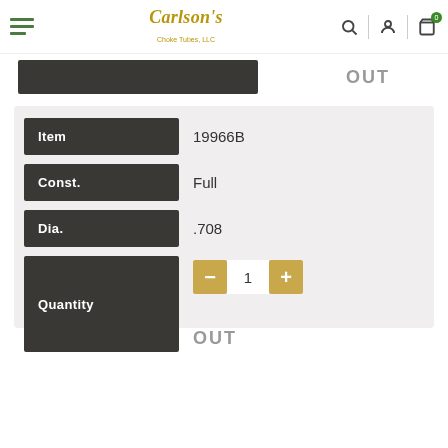Carlson's Choke Tubes, LLC
OUT
| Field | Value |
| --- | --- |
| Item | 19966B |
| Const. | Full |
| Dia. | .708 |
| Quantity | 1 |
OUT